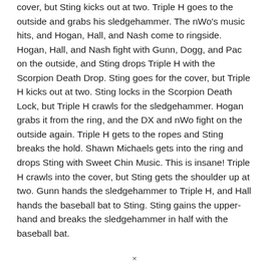cover, but Sting kicks out at two. Triple H goes to the outside and grabs his sledgehammer. The nWo's music hits, and Hogan, Hall, and Nash come to ringside. Hogan, Hall, and Nash fight with Gunn, Dogg, and Pac on the outside, and Sting drops Triple H with the Scorpion Death Drop. Sting goes for the cover, but Triple H kicks out at two. Sting locks in the Scorpion Death Lock, but Triple H crawls for the sledgehammer. Hogan grabs it from the ring, and the DX and nWo fight on the outside again. Triple H gets to the ropes and Sting breaks the hold. Shawn Michaels gets into the ring and drops Sting with Sweet Chin Music. This is insane! Triple H crawls into the cover, but Sting gets the shoulder up at two. Gunn hands the sledgehammer to Triple H, and Hall hands the baseball bat to Sting. Sting gains the upper-hand and breaks the sledgehammer in half with the baseball bat.
×